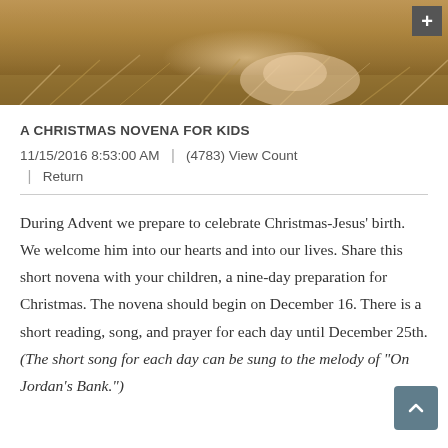[Figure (photo): Top banner photo of a nativity scene showing a baby in a manger with hay/straw, warm golden-brown tones]
A CHRISTMAS NOVENA FOR KIDS
11/15/2016 8:53:00 AM  |  (4783) View Count  |  Return
During Advent we prepare to celebrate Christmas-Jesus' birth. We welcome him into our hearts and into our lives. Share this short novena with your children, a nine-day preparation for Christmas. The novena should begin on December 16. There is a short reading, song, and prayer for each day until December 25th. (The short song for each day can be sung to the melody of "On Jordan's Bank.")